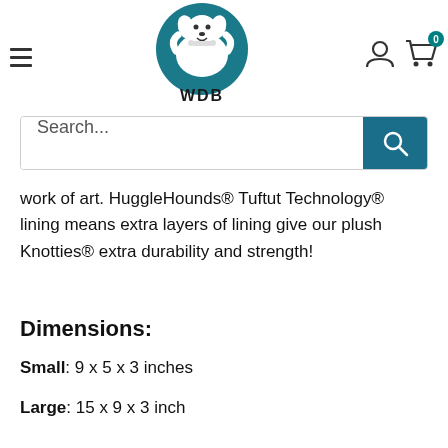[Figure (logo): WDB (World's Best Dog) logo — cartoon dog holding a bone on teal circular background with WDB text below]
work of art. HuggleHounds® Tuftut Technology® lining means extra layers of lining give our plush Knotties® extra durability and strength!
Dimensions:
Small: 9 x 5 x 3 inches
Large: 15 x 9 x 3 inch